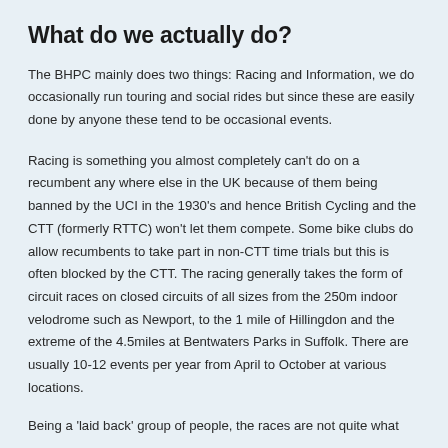What do we actually do?
The BHPC mainly does two things: Racing and Information, we do occasionally run touring and social rides but since these are easily done by anyone these tend to be occasional events.
Racing is something you almost completely can't do on a recumbent any where else in the UK because of them being banned by the UCI in the 1930's and hence British Cycling and the CTT (formerly RTTC) won't let them compete. Some bike clubs do allow recumbents to take part in non-CTT time trials but this is often blocked by the CTT. The racing generally takes the form of circuit races on closed circuits of all sizes from the 250m indoor velodrome such as Newport, to the 1 mile of Hillingdon and the extreme of the 4.5miles at Bentwaters Parks in Suffolk. There are usually 10-12 events per year from April to October at various locations.
Being a 'laid back' group of people, the races are not quite what